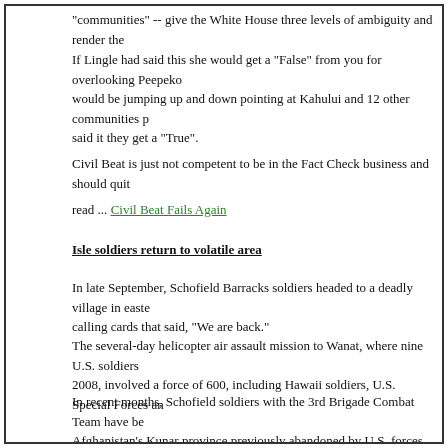"communities" -- give the White House three levels of ambiguity and render the
If Lingle had said this she would get a "False" from you for overlooking Peepeko would be jumping up and down pointing at Kahului and 12 other communities p said it they get a "True".
Civil Beat is just not competent to be in the Fact Check business and should quit
read ... Civil Beat Fails Again
Isle soldiers return to volatile area
In late September, Schofield Barracks soldiers headed to a deadly village in easte calling cards that said, "We are back."
The several-day helicopter air assault mission to Wanat, where nine U.S. soldiers 2008, involved a force of 600, including Hawaii soldiers, U.S. Special Forces an
In recent months, Schofield soldiers with the 3rd Brigade Combat Team have be Afghanistan's Kunar province previously abandoned by U.S. forces
read … Afghanistan